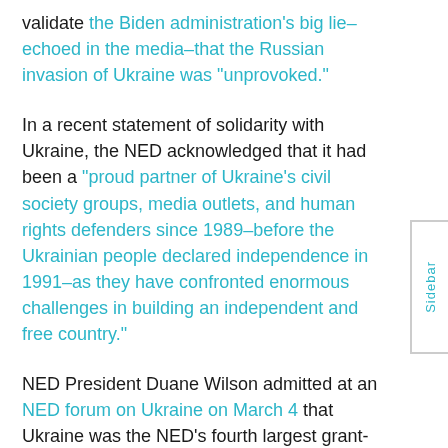validate the Biden administration's big lie–echoed in the media–that the Russian invasion of Ukraine was "unprovoked."
In a recent statement of solidarity with Ukraine, the NED acknowledged that it had been a "proud partner of Ukraine's civil society groups, media outlets, and human rights defenders since 1989–before the Ukrainian people declared independence in 1991–as they have confronted enormous challenges in building an independent and free country."
NED President Duane Wilson admitted at an NED forum on Ukraine on March 4 that Ukraine was the NED's fourth largest grant-making program around